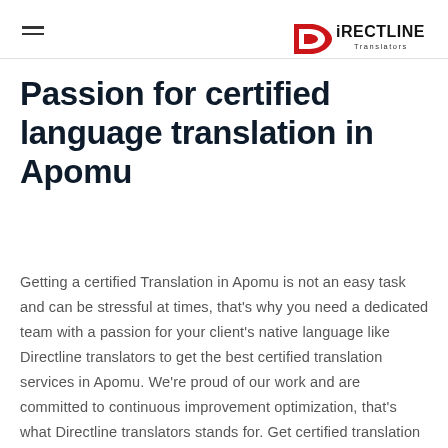exceptional translator. By using our service, you can access
[Figure (logo): DirectLine Translators logo with red arrow/D symbol and black text]
Passion for certified language translation in Apomu
Getting a certified Translation in Apomu is not an easy task and can be stressful at times, that's why you need a dedicated team with a passion for your client's native language like Directline translators to get the best certified translation services in Apomu. We're proud of our work and are committed to continuous improvement optimization, that's what Directline translators stands for. Get certified translation in Apomu. We are translation services in Apomu. Get sworn translation services in Apomu